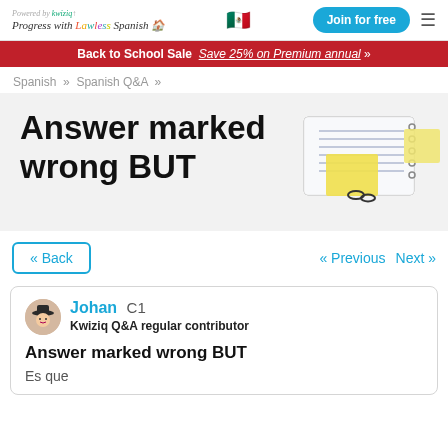Progress with Lawless Spanish | Join for free
Back to School Sale   Save 25% on Premium annual »
Spanish » Spanish Q&A »
Answer marked wrong BUT
« Back   « Previous   Next »
Johan  C1
Kwiziq Q&A regular contributor
Answer marked wrong BUT
Es que